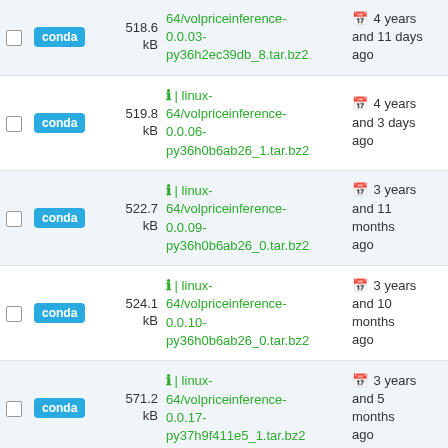|  | type | size | filename | date |
| --- | --- | --- | --- | --- |
| ☐ | conda | 518.6 kB | 64/volpriceinference-0.0.03-py36h2ec39db_8.tar.bz2 | 4 years and 11 days ago |
| ☐ | conda | 519.8 kB | ℹ | linux-64/volpriceinference-0.0.06-py36h0b6ab26_1.tar.bz2 | 4 years and 3 days ago |
| ☐ | conda | 522.7 kB | ℹ | linux-64/volpriceinference-0.0.09-py36h0b6ab26_0.tar.bz2 | 3 years and 11 months ago |
| ☐ | conda | 524.1 kB | ℹ | linux-64/volpriceinference-0.0.10-py36h0b6ab26_0.tar.bz2 | 3 years and 10 months ago |
| ☐ | conda | 571.2 kB | ℹ | linux-64/volpriceinference-0.0.17-py37h9f411e5_1.tar.bz2 | 3 years and 5 months ago |
| ☐ | conda | 571.4 kB | ℹ | linux-64/volpriceinference-0.0.17-py37hde49c1d_1.tar.bz2 | 3 years and 5 months ago |